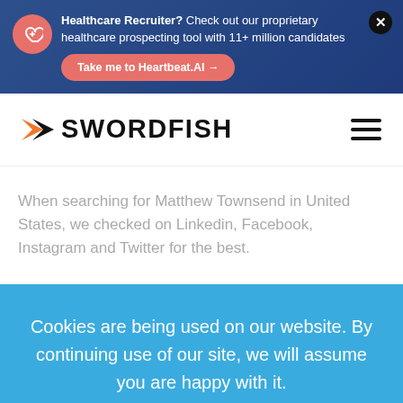Healthcare Recruiter? Check out our proprietary healthcare prospecting tool with 11+ million candidates
Take me to Heartbeat.AI →
[Figure (logo): Swordfish logo with orange arrow chevron and bold black SWORDFISH wordmark]
When searching for Matthew Townsend in United States, we checked on Linkedin, Facebook, Instagram and Twitter for the best.
Cookies are being used on our website. By continuing use of our site, we will assume you are happy with it.
Ok